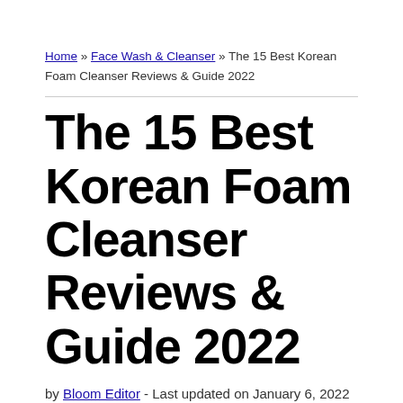Home » Face Wash & Cleanser » The 15 Best Korean Foam Cleanser Reviews & Guide 2022
The 15 Best Korean Foam Cleanser Reviews & Guide 2022
by Bloom Editor - Last updated on January 6, 2022
Disclosure: This post may contain affiliate links. This means that at no cost to you, we may earn a small commission for qualifying purchases. As an Amazon Associate I earn from qualifying purchases.